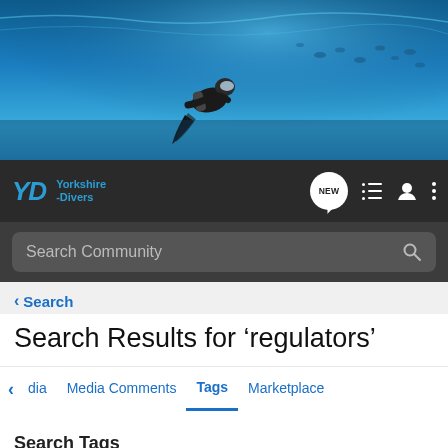[Figure (photo): Hero banner showing a scuba diver underwater in blue ocean water with fish in background]
Yorkshire Divers
Search Community
< Search
Search Results for ‘regulators’
dia  Media Comments  Tags  Marketplace
Search Tags
× regulators